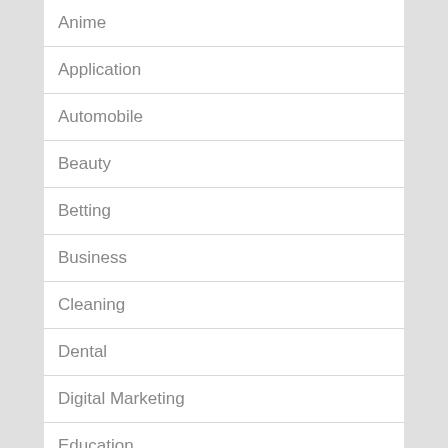Anime
Application
Automobile
Beauty
Betting
Business
Cleaning
Dental
Digital Marketing
Education